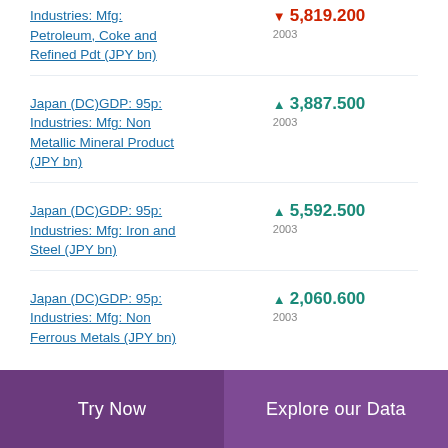Industries: Mfg: Petroleum, Coke and Refined Pdt (JPY bn)
Japan (DC)GDP: 95p: Industries: Mfg: Non Metallic Mineral Product (JPY bn)
Japan (DC)GDP: 95p: Industries: Mfg: Iron and Steel (JPY bn)
Japan (DC)GDP: 95p: Industries: Mfg: Non Ferrous Metals (JPY bn)
Try Now | Explore our Data